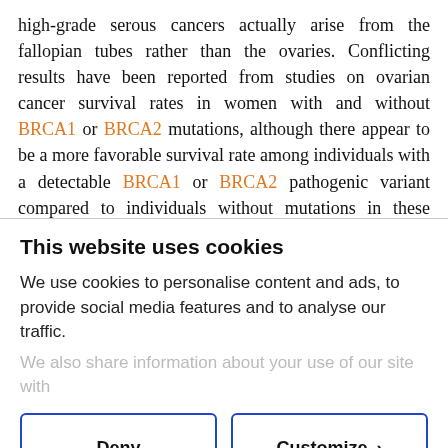high-grade serous cancers actually arise from the fallopian tubes rather than the ovaries. Conflicting results have been reported from studies on ovarian cancer survival rates in women with and without BRCA1 or BRCA2 mutations, although there appear to be a more favorable survival rate among individuals with a detectable BRCA1 or BRCA2 pathogenic variant compared to individuals without mutations in these genes.
This website uses cookies
We use cookies to personalise content and ads, to provide social media features and to analyse our traffic.
We also share information about your use of our site with